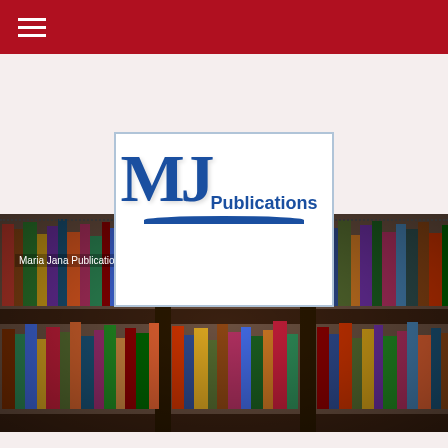≡
[Figure (logo): MJ Publications logo — large blue MJ letters with Publications text and blue swoosh underline, white background with light blue border]
[Figure (photo): Photo of library bookshelves filled with colorful books, spanning width of page]
Maria Jana Publications
MARIA JANA EDUCATIONAL